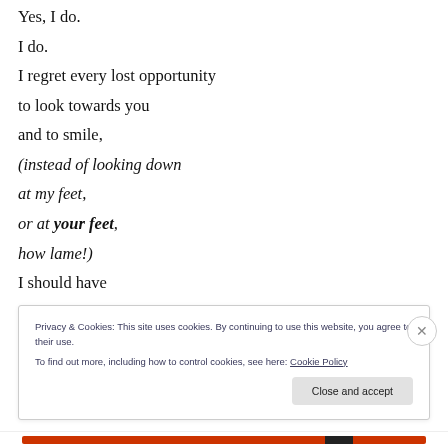Yes, I do.
I do.
I regret every lost opportunity
to look towards you
and to smile,
(instead of looking down
at my feet,
or at your feet,
how lame!)
I should have
gazed more deeply into your eyes.
Privacy & Cookies: This site uses cookies. By continuing to use this website, you agree to their use. To find out more, including how to control cookies, see here: Cookie Policy